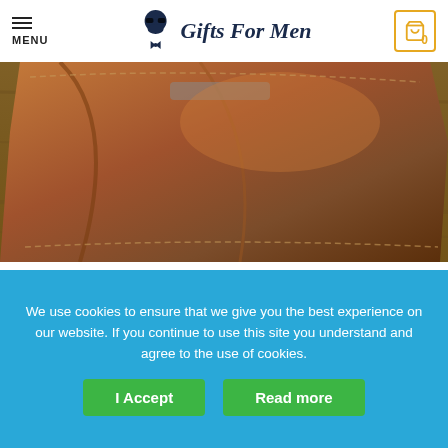MENU | Gifts For Men | 0
[Figure (photo): Close-up photo of a brown leather wallet on a wooden surface]
Treasure Chest Cool Wallets for Men
$5...
Select options
We use cookies to ensure that we give you the best experience on our website. If you continue to use this site you understand and agree to the use of cookies.
I Accept
Read more